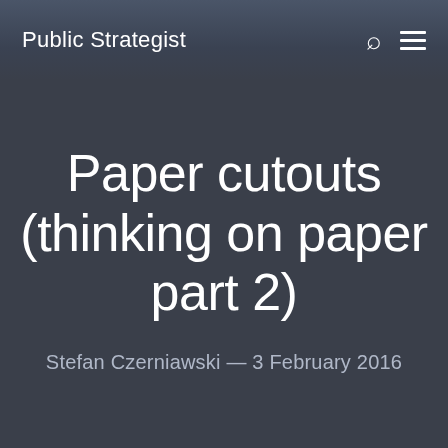Public Strategist
Paper cutouts (thinking on paper part 2)
Stefan Czerniawski — 3 February 2016